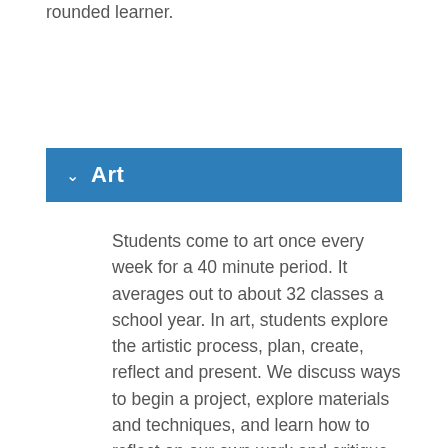rounded learner.
Art
Students come to art once every week for a 40 minute period. It averages out to about 32 classes a school year. In art, students explore the artistic process, plan, create, reflect and present. We discuss ways to begin a project, explore materials and techniques, and learn how to reflect on our own work and critique the work of others. In the art room students are expected to always aim to be their best and do the right thing. Students are to also